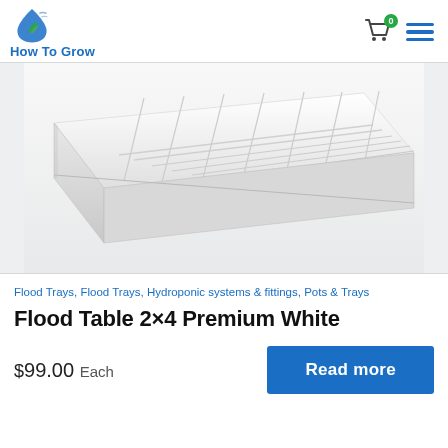How To Grow
[Figure (photo): White rectangular flood table / growing tray with ribbed bottom surface, shown in perspective view on a light gray background.]
Flood Trays, Flood Trays, Hydroponic systems & fittings, Pots & Trays
Flood Table 2×4 Premium White
$99.00 Each
Read more